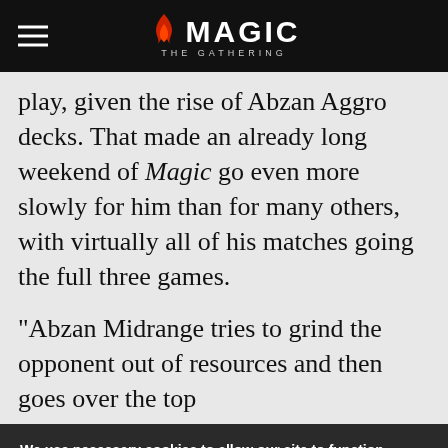Magic: The Gathering
play, given the rise of Abzan Aggro decks. That made an already long weekend of Magic go even more slowly for him than for many others, with virtually all of his matches going the full three games.
"Abzan Midrange tries to grind the opponent out of resources and then goes over the top
We use necessary cookies to allow our site to function correctly and collect anonymous session data. Necessary cookies can be opted out through your browser settings. We also use optional cookies to personalize content and ads, provide social medial features and analyze web traffic. By clicking “OK, I agree,” you consent to optional cookies. (Learn more about cookies.)